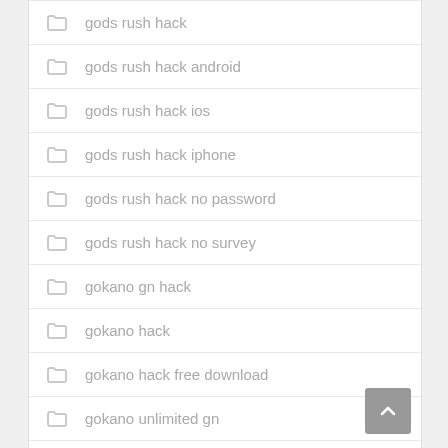gods rush hack
gods rush hack android
gods rush hack ios
gods rush hack iphone
gods rush hack no password
gods rush hack no survey
gokano gn hack
gokano hack
gokano hack free download
gokano unlimited gn
gokano unlimited points